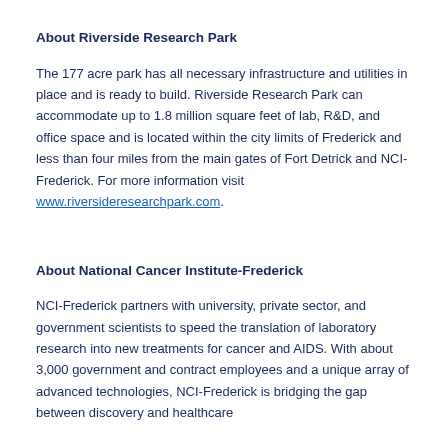About Riverside Research Park
The 177 acre park has all necessary infrastructure and utilities in place and is ready to build. Riverside Research Park can accommodate up to 1.8 million square feet of lab, R&D, and office space and is located within the city limits of Frederick and less than four miles from the main gates of Fort Detrick and NCI-Frederick. For more information visit www.riversideresearchpark.com.
About National Cancer Institute-Frederick
NCI-Frederick partners with university, private sector, and government scientists to speed the translation of laboratory research into new treatments for cancer and AIDS. With about 3,000 government and contract employees and a unique array of advanced technologies, NCI-Frederick is bridging the gap between discovery and healthcare